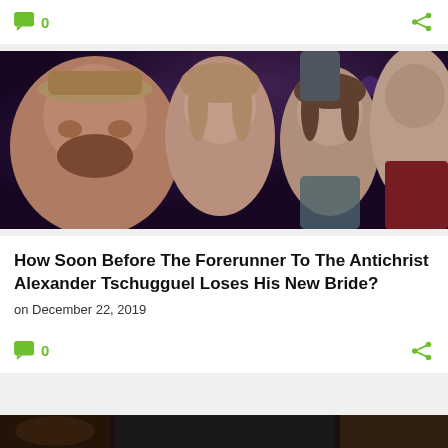[Figure (other): Top bar with green comment icon showing 0 comments and a green share icon]
[Figure (photo): Group selfie photo of four people indoors with purple/blue ambient lighting in the background]
How Soon Before The Forerunner To The Antichrist Alexander Tschugguel Loses His New Bride?
on December 22, 2019
[Figure (other): Bottom bar with green comment icon showing 0 comments and a green share icon]
[Figure (photo): Partial view of another article's photo at the bottom of the page]